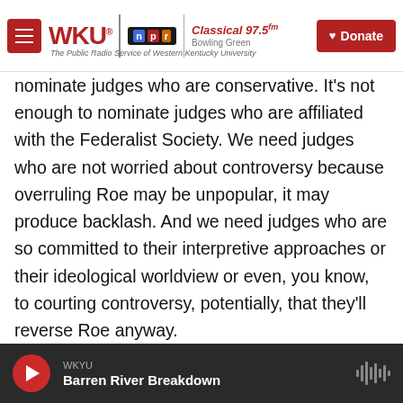[Figure (logo): WKU NPR Classical 97.5 FM radio station header with menu button and Donate button]
nominate judges who are conservative. It's not enough to nominate judges who are affiliated with the Federalist Society. We need judges who are not worried about controversy because overruling Roe may be unpopular, it may produce backlash. And we need judges who are so committed to their interpretive approaches or their ideological worldview or even, you know, to courting controversy, potentially, that they'll reverse Roe anyway.
So there's a lot of attention paid within the movement to Clarence Thomas's confirmation and
[Figure (screenshot): Audio player bar showing WKYU station and Barren River Breakdown program with play button and waveform icon]